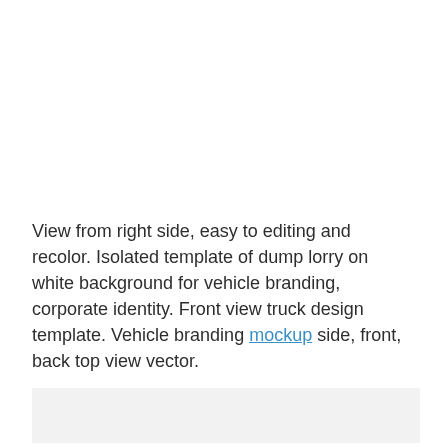View from right side, easy to editing and recolor. Isolated template of dump lorry on white background for vehicle branding, corporate identity. Front view truck design template. Vehicle branding mockup side, front, back top view vector.
[Figure (other): Light gray placeholder rectangle at the bottom of the page]